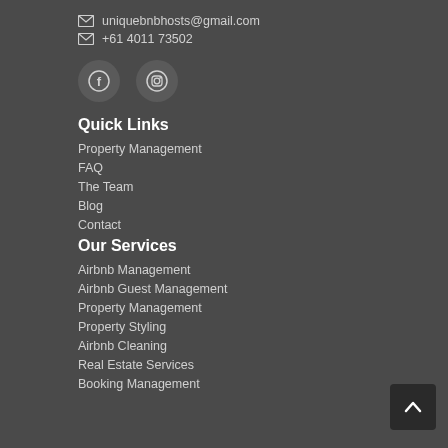uniquebnbhosts@gmail.com
+61 4011 73502
[Figure (illustration): Facebook and Instagram social media icons (circle icons)]
Quick Links
Property Management
FAQ
The Team
Blog
Contact
Our Services
Airbnb Management
Airbnb Guest Management
Property Management
Property Styling
Airbnb Cleaning
Real Estate Services
Booking Management